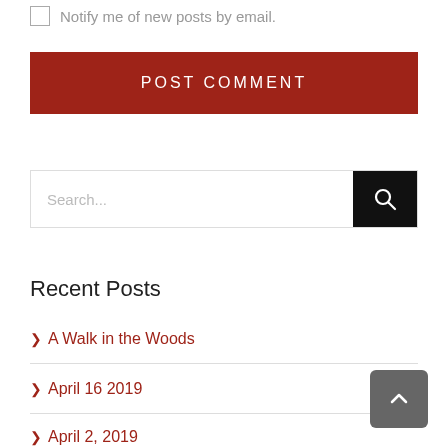Notify me of new posts by email.
POST COMMENT
Search...
Recent Posts
A Walk in the Woods
April 16 2019
April 2, 2019